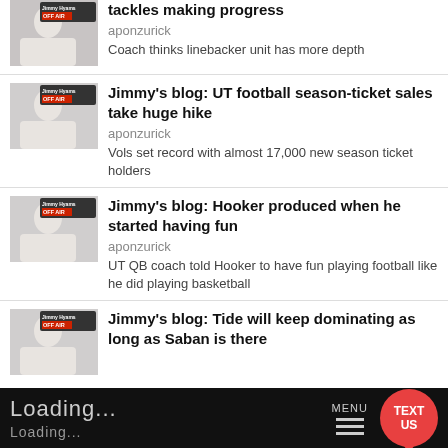[Figure (screenshot): Thumbnail image of radio host with 'OFF AIR' badge for first article (partially visible)]
tackles making progress
aponzurick
Coach thinks linebacker unit has more depth
[Figure (screenshot): Thumbnail image of radio host with 'OFF AIR' badge for Jimmy's blog UT football article]
Jimmy's blog: UT football season-ticket sales take huge hike
aponzurick
Vols set record with almost 17,000 new season ticket holders
[Figure (screenshot): Thumbnail image of radio host with 'OFF AIR' badge for Jimmy's blog Hooker article]
Jimmy's blog: Hooker produced when he started having fun
aponzurick
UT QB coach told Hooker to have fun playing football like he did playing basketball
[Figure (screenshot): Thumbnail image of radio host with 'OFF AIR' badge for Jimmy's blog Tide article]
Jimmy's blog: Tide will keep dominating as long as Saban is there
Loading...
Loading...
MENU